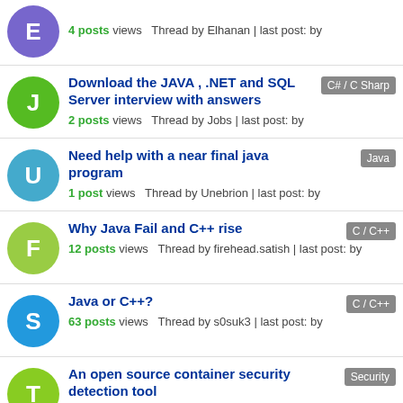4 posts views  Thread by Elhanan | last post: by
Download the JAVA , .NET and SQL Server interview with answers
2 posts views  Thread by Jobs | last post: by
Tag: C# / C Sharp
Need help with a near final java program
1 post views  Thread by Unebrion | last post: by
Tag: Java
Why Java Fail and C++ rise
12 posts views  Thread by firehead.satish | last post: by
Tag: C / C++
Java or C++?
63 posts views  Thread by s0suk3 | last post: by
Tag: C / C++
An open source container security detection tool
reply views  Thread by Tm9g | last post: by
Tag: Security